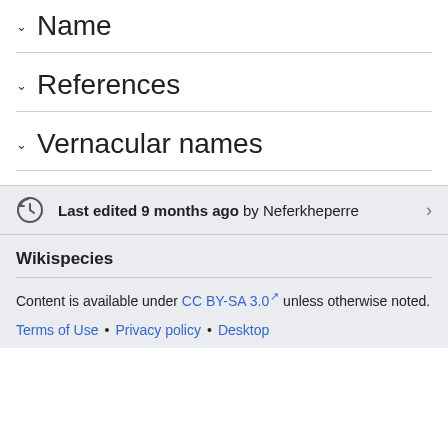∨ Name
∨ References
∨ Vernacular names
Last edited 9 months ago by Neferkheperre
Wikispecies
Content is available under CC BY-SA 3.0 unless otherwise noted.
Terms of Use • Privacy policy • Desktop